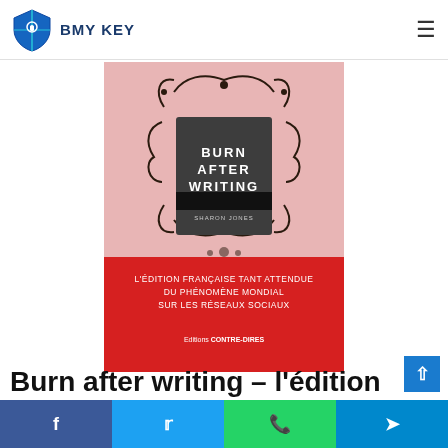BMY KEY
[Figure (photo): Book cover of 'Burn After Writing' French edition (Editions CONTRE-DIRES). Top half is pink with ornate dark decorative frame containing a dark gray matchbook-style cover reading 'BURN AFTER WRITING' by Sharon Jones. Bottom half is red with white text: L'ÉDITION FRANÇAISE TANT ATTENDUE DU PHÉNOMÈNE MONDIAL SUR LES RÉSEAUX SOCIAUX. Publisher: Editions CONTRE-DIRES.]
Burn after writing – l'édition